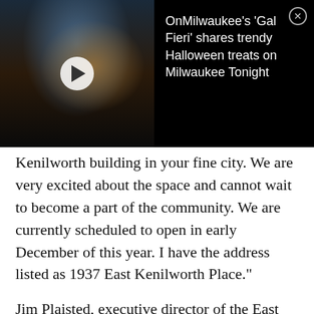[Figure (screenshot): Video thumbnail overlay showing a person with teal/blonde hair and sunglasses, with a play button overlay. Adjacent black panel shows title text: "OnMilwaukee's 'Gal Fieri' shares trendy Halloween treats on Milwaukee Tonight" with a close (X) button.]
Kenilworth building in your fine city. We are very excited about the space and cannot wait to become a part of the community. We are currently scheduled to open in early December of this year. I have the address listed as 1937 East Kenilworth Place."
Jim Plaisted, executive director of the East Side Business Improvement District, thinks it's great for the East Side neighborhood.  While he couldn't officially confirm, he told me via e-mail, "The new